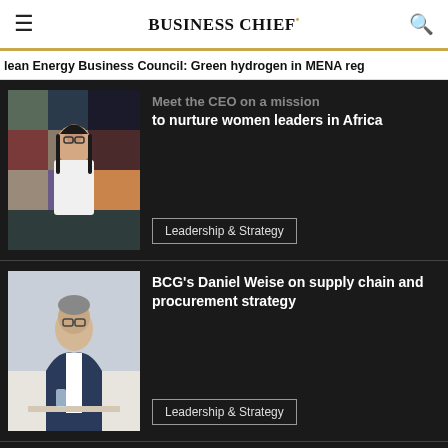BUSINESS CHIEF.
lean Energy Business Council: Green hydrogen in MENA reg
[Figure (photo): Woman with glasses in white coat in front of colorful tiled background]
Meet the CEO on a mission to nurture women leaders in Africa
Leadership & Strategy
[Figure (photo): Man in dark blue jacket sitting at desk, smiling]
BCG's Daniel Weise on supply chain and procurement strategy
Leadership & Strategy
Meet the COO: Former Israel Defense Force cyber lead Parnes